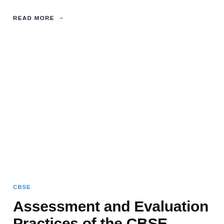READ MORE →
CBSE
Assessment and Evaluation Practices of the CBSE Board